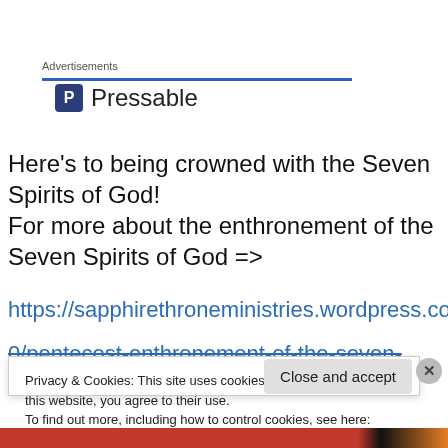Advertisements
[Figure (logo): Pressable logo with blue P icon and text 'Pressable']
Here's to being crowned with the Seven Spirits of God!
For more about the enthronement of the Seven Spirits of God =>
https://sapphirethroneministries.wordpress.com/2021/05/10/pentecost-enthronement-of-the-seven-spirits-of-god/
Privacy & Cookies: This site uses cookies. By continuing to use this website, you agree to their use. To find out more, including how to control cookies, see here: Cookie Policy
Close and accept